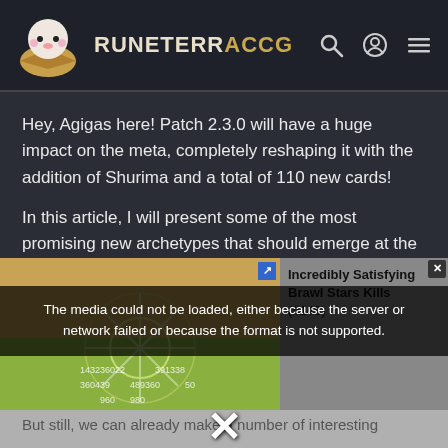RUNETERRACCG
Hey, Agigas here! Patch 2.3.0 will have a huge impact on the meta, completely reshaping it with the addition of Shurima and a total of 110 new cards!
In this article, I will present some of the most promising new archetypes that should emerge at the
[Figure (screenshot): Video/media player showing a game screenshot with a snowflake-like pattern, overlaid with a media error message: 'The media could not be loaded, either because the server or network failed or because the format is not supported.' An ad on the right side reads 'Incredibly Satisfying Brawl Stars Kills (#148)'. A large X close button is visible at the bottom center.]
But still, we can already make a number of interesting